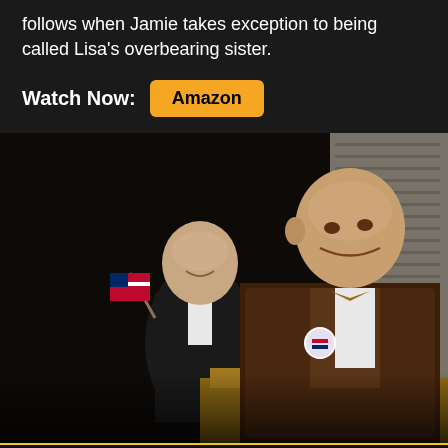follows when Jamie takes exception to being called Lisa's overbearing sister.
Watch Now: Amazon
[Figure (photo): A bald elderly man in a brown suit and bow tie stands at a podium with a campaign button. In the background, another man in a tuxedo holds a small American flag and smiles.]
★ 7.87 | 15 votes